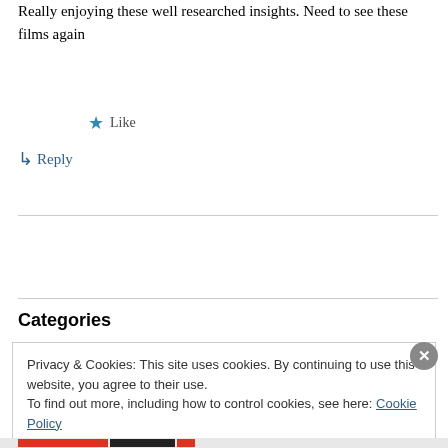Really enjoying these well researched insights. Need to see these films again
★ Like
↳ Reply
Categories
Privacy & Cookies: This site uses cookies. By continuing to use this website, you agree to their use.
To find out more, including how to control cookies, see here: Cookie Policy
Close and accept